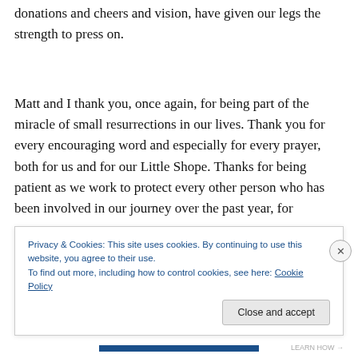donations and cheers and vision, have given our legs the strength to press on.
Matt and I thank you, once again, for being part of the miracle of small resurrections in our lives. Thank you for every encouraging word and especially for every prayer, both for us and for our Little Shope. Thanks for being patient as we work to protect every other person who has been involved in our journey over the past year, for
Privacy & Cookies: This site uses cookies. By continuing to use this website, you agree to their use.
To find out more, including how to control cookies, see here: Cookie Policy
Close and accept